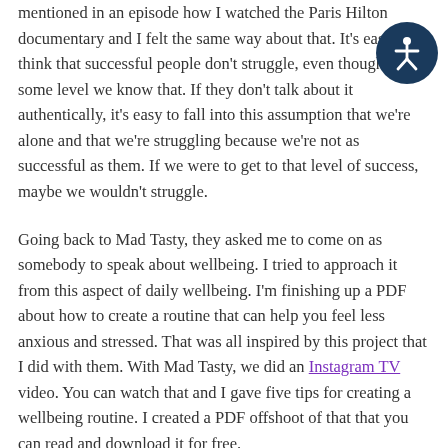mentioned in an episode how I watched the Paris Hilton documentary and I felt the same way about that. It's easy to think that successful people don't struggle, even though on some level we know that. If they don't talk about it authentically, it's easy to fall into this assumption that we're alone and that we're struggling because we're not as successful as them. If we were to get to that level of success, maybe we wouldn't struggle.
Going back to Mad Tasty, they asked me to come on as somebody to speak about wellbeing. I tried to approach it from this aspect of daily wellbeing. I'm finishing up a PDF about how to create a routine that can help you feel less anxious and stressed. That was all inspired by this project that I did with them. With Mad Tasty, we did an Instagram TV video. You can watch that and I gave five tips for creating a wellbeing routine. I created a PDF offshoot of that that you can read and download it for free.
[Figure (other): Accessibility icon — white stick figure in a circle on dark navy background, positioned top-right]